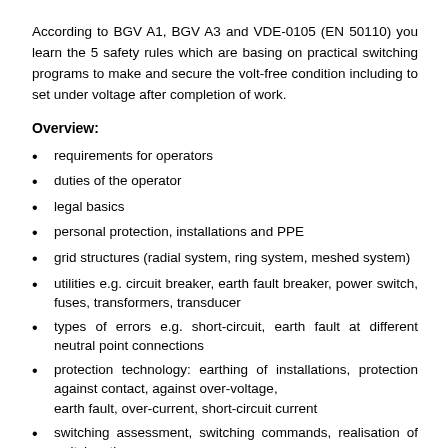According to BGV A1, BGV A3 and VDE-0105 (EN 50110) you learn the 5 safety rules which are basing on practical switching programs to make and secure the volt-free condition including to set under voltage after completion of work.
Overview:
requirements for operators
duties of the operator
legal basics
personal protection, installations and PPE
grid structures (radial system, ring system, meshed system)
utilities e.g. circuit breaker, earth fault breaker, power switch, fuses, transformers, transducer
types of errors e.g. short-circuit, earth fault at different neutral point connections
protection technology: earthing of installations, protection against contact, against over-voltage, earth fault, over-current, short-circuit current
switching assessment, switching commands, realisation of switch actions